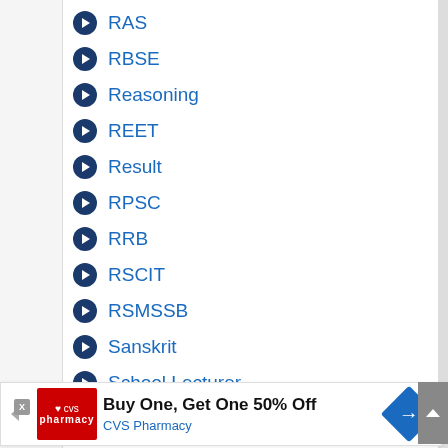RAS
RBSE
Reasoning
REET
Result
RPSC
RRB
RSCIT
RSMSSB
Sanskrit
School Lecturer
SCIENCE
[Figure (other): CVS Pharmacy advertisement banner: Buy One, Get One 50% Off]
Social Studies